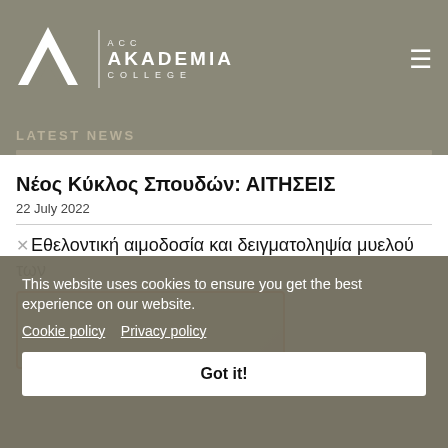[Figure (logo): ACC Akademia College logo with triangular A symbol in white on olive/grey background, with text ACC, AKADEMIA, COLLEGE]
LATEST NEWS
Νέος Κύκλος Σπουδών: ΑΙΤΗΣΕΙΣ
22 July 2022
Εθελοντική αιμοδοσία και δειγματοληψία μυελού των
[Figure (photo): Partially visible photo with orange border/frame]
This website uses cookies to ensure you get the best experience on our website.
Cookie policy   Privacy policy
Got it!